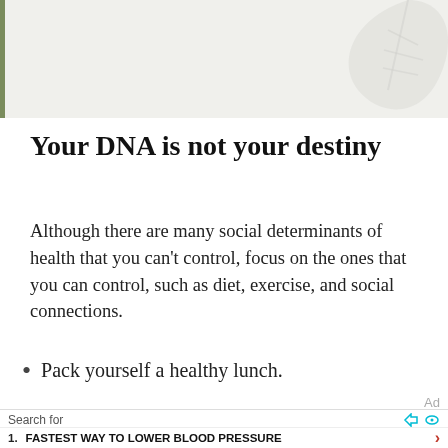[Figure (illustration): Light green/grey banner header with a left green vertical border bar and a faint leaf watermark in the upper right corner.]
Your DNA is not your destiny
Although there are many social determinants of health that you can't control, focus on the ones that you can control, such as diet, exercise, and social connections.
Pack yourself a healthy lunch.
Search for  1.  FASTEST WAY TO LOWER BLOOD PRESSURE